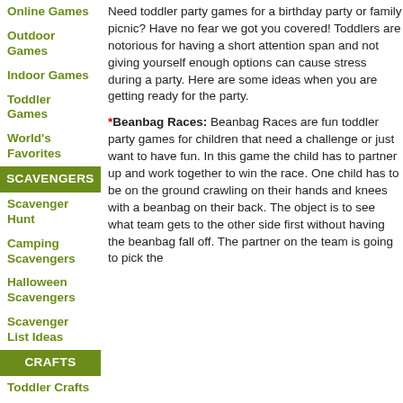Online Games
Outdoor Games
Indoor Games
Toddler Games
World's Favorites
SCAVENGERS
Scavenger Hunt
Camping Scavengers
Halloween Scavengers
Scavenger List Ideas
CRAFTS
Toddler Crafts
S'Mores!
[?] Subscribe To This Site
Need toddler party games for a birthday party or family picnic? Have no fear we got you covered! Toddlers are notorious for having a short attention span and not giving yourself enough options can cause stress during a party. Here are some ideas when you are getting ready for the party.
*Beanbag Races: Beanbag Races are fun toddler party games for children that need a challenge or just want to have fun. In this game the child has to partner up and work together to win the race. One child has to be on the ground crawling on their hands and knees with a beanbag on their back. The object is to see what team gets to the other side first without having the beanbag fall off. The partner on the team is going to pick the